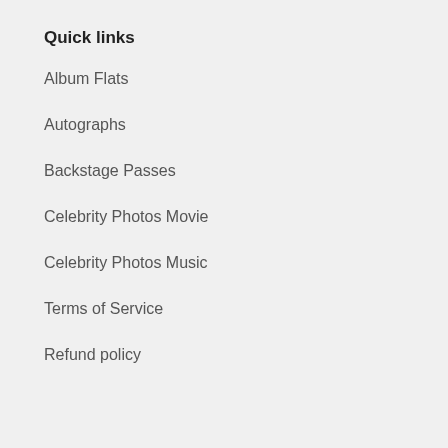Quick links
Album Flats
Autographs
Backstage Passes
Celebrity Photos Movie
Celebrity Photos Music
Terms of Service
Refund policy